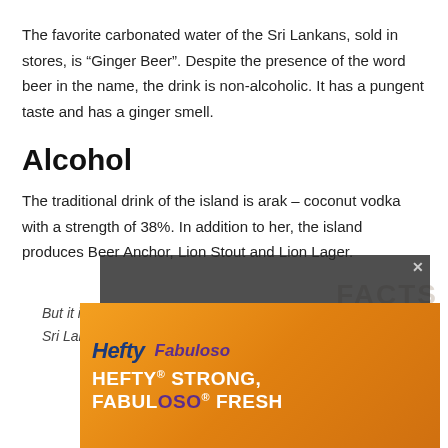The favorite carbonated water of the Sri Lankans, sold in stores, is “Ginger Beer”. Despite the presence of the word beer in the name, the drink is non-alcoholic. It has a pungent taste and has a ginger smell.
Alcohol
The traditional drink of the island is arak – coconut vodka with a strength of 38%. In addition to her, the island produces Beer Anchor, Lion Stout and Lion Lager.
But it is difficult to buy alcoholic beverages in Sri Lanka, since they are not sold in all
[Figure (screenshot): Video player overlay showing 'No compatible source was found for this media.' message over a blurred background image with watermark text 'FACTS ABOUT SRI LANKAN']
[Figure (photo): Hefty advertisement banner showing Hefty and Fabuloso products with text 'HEFTY STRONG, FABULOSO FRESH']